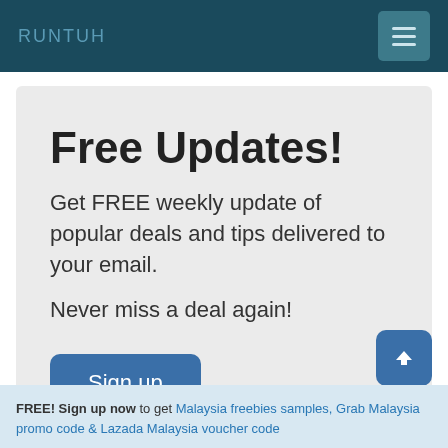RUNTUH
Free Updates!
Get FREE weekly update of popular deals and tips delivered to your email.

Never miss a deal again!
Sign up
FREE! Sign up now to get Malaysia freebies samples, Grab Malaysia promo code & Lazada Malaysia voucher code